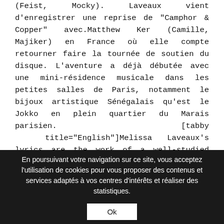(Feist, Mocky). Laveaux vient d'enregistrer une reprise de "Camphor & Copper" avec.Matthew Ker (Camille, Majiker) en France où elle compte retourner faire la tournée de soutien du disque. L'aventure a déjà débutée avec une mini-résidence musicale dans les petites salles de Paris, notamment le bijoux artistique Sénégalais qu'est le Jokko en plein quartier du Marais parisien. [tabby title="English"]Melissa Laveaux's lyrics are the work of a well-studied wordsmith. Musically her guitar-play fluidly syncopates percussive jazz notes and bass lines, combining cultural influences from kreyol-calypso folkloric
En poursuivant votre navigation sur ce site, vous acceptez l'utilisation de cookies pour vous proposer des contenus et services adaptés à vos centres d'intérêts et réaliser des statistiques.